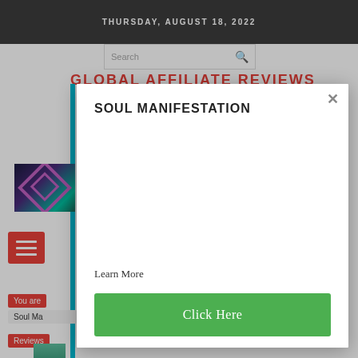THURSDAY, AUGUST 18, 2022
GLOBAL AFFILIATE REVIEWS
SOUL MANIFESTATION
Learn More
Click Here
You are
Soul Ma
Reviews